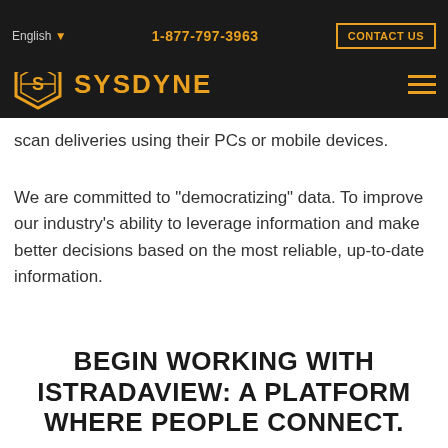English  1-877-797-3963  CONTACT US
[Figure (logo): SYSDYNE logo with hexagonal S icon in orange on dark background]
communicants in real time. Project stakeholders have the ability to view and download reports, post RFIs, track job performance using dashboards, and scan deliveries using their PCs or mobile devices.
We are committed to "democratizing" data. To improve our industry's ability to leverage information and make better decisions based on the most reliable, up-to-date information.
DOWNLOAD BROCHURE
BEGIN WORKING WITH ISTRADAVIEW: A PLATFORM WHERE PEOPLE CONNECT.